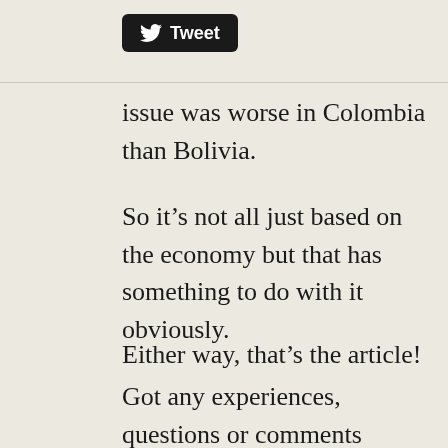[Figure (logo): Twitter Tweet button with bird logo, black rounded rectangle]
issue was worse in Colombia than Bolivia.
So it’s not all just based on the economy but that has something to do with it obviously.
Either way, that’s the article!
Got any experiences, questions or comments relevant to this article?